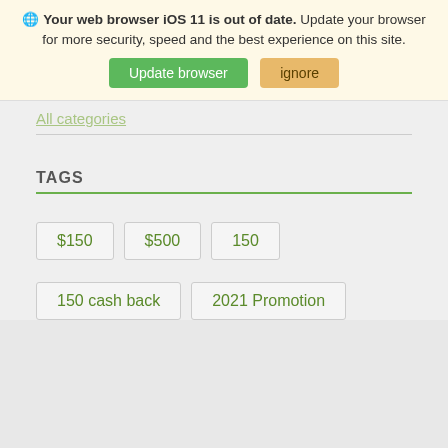Your web browser iOS 11 is out of date. Update your browser for more security, speed and the best experience on this site.
Update browser | ignore
All categories
TAGS
$150
$500
150
150 cash back
2021 Promotion